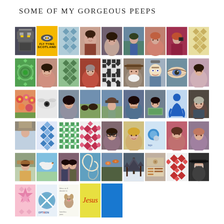SOME OF MY GORGEOUS PEEPS
[Figure (photo): A collage of profile photos and avatar icons arranged in a 6-row grid. Row 1: pixel art character, Fly Tying Scotland logo, blue diamond pattern, woman portrait, woman portrait, outdoor person, woman portrait, woman with camera, yellow diamond pattern. Row 2: green flower pattern, young woman smiling, green diamond pattern, older man in red, black geometric pattern, man with beard and hat, cartoon character, close-up eye, young woman. Row 3: colorful flowers painting, abstract eyes, woman with dark hair, landscape with animals, person with hat outdoors, young man portrait, person holding money, blue figure silhouette, older man. Row 4: person in costume, blue diamond quilt pattern, green grid pattern, red diamond quilt pattern, woman with glasses, blonde woman, logo/badge, smiling woman, woman portrait. Row 5: woman in colorful clothing, bird/dove photo, two people portrait, swirl abstract, birds photo, winter trees, craft tools photo, red diamond pattern, person with hat/glasses. Row 6: pink star quilt, globe X logo, dog charity image, Jesus yellow text, blue rectangle.]